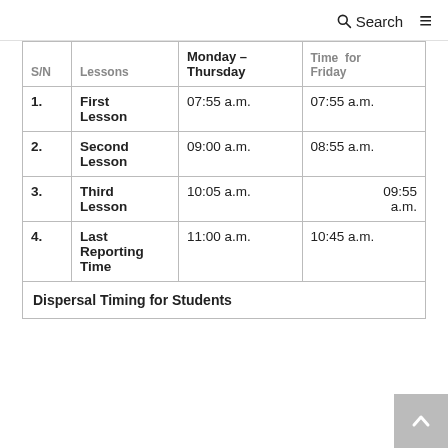Search
| S/N | Lessons | Monday – Thursday | Time for Friday |
| --- | --- | --- | --- |
| 1. | First Lesson | 07:55 a.m. | 07:55 a.m. |
| 2. | Second Lesson | 09:00 a.m. | 08:55 a.m. |
| 3. | Third Lesson | 10:05 a.m. | 09:55 a.m. |
| 4. | Last Reporting Time | 11:00 a.m. | 10:45 a.m. |
Dispersal Timing for Students